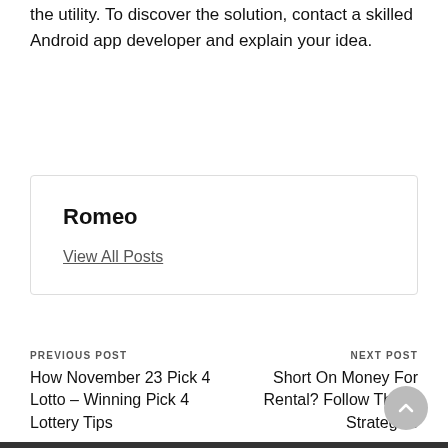the utility. To discover the solution, contact a skilled Android app developer and explain your idea.
Romeo
View All Posts
PREVIOUS POST
How November 23 Pick 4 Lotto – Winning Pick 4 Lottery Tips
NEXT POST
Short On Money For Rental? Follow These Strategies